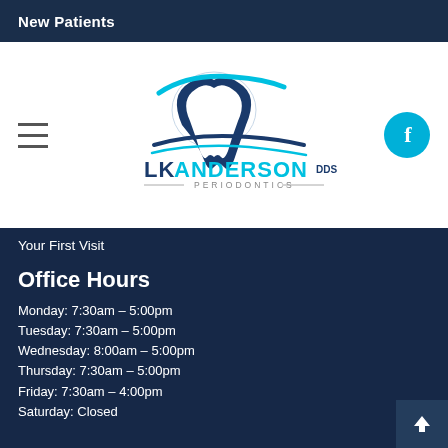New Patients
[Figure (logo): LK Anderson DDS Periodontics dental logo — stylized tooth with blue swoosh lines above text reading LK ANDERSON DDS PERIODONTICS]
Your First Visit
Office Hours
Monday: 7:30am – 5:00pm
Tuesday: 7:30am – 5:00pm
Wednesday: 8:00am – 5:00pm
Thursday: 7:30am – 5:00pm
Friday: 7:30am – 4:00pm
Saturday: Closed